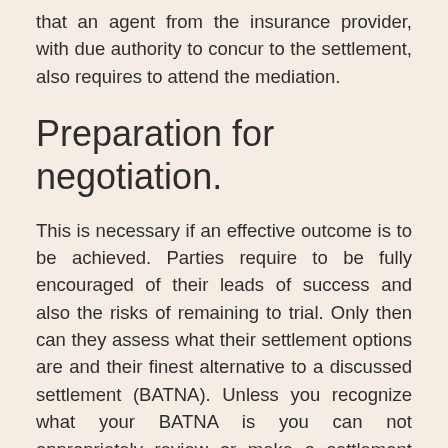that an agent from the insurance provider, with due authority to concur to the settlement, also requires to attend the mediation.
Preparation for negotiation.
This is necessary if an effective outcome is to be achieved. Parties require to be fully encouraged of their leads of success and also the risks of remaining to trial. Only then can they assess what their settlement options are and their finest alternative to a discussed settlement (BATNA). Unless you recognize what your BATNA is you can not appropriately review or make a settlement offer. Tax obligation consequences of a settlement may additionally have an effect as well as these should be evaluated in breakthrough of the tax and the mediation advisor ought to be offered to advise during the